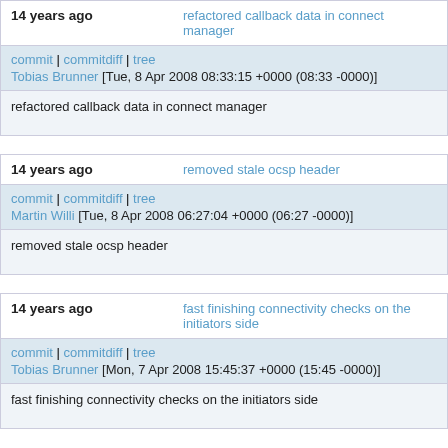14 years ago   refactored callback data in connect manager
commit | commitdiff | tree
Tobias Brunner [Tue, 8 Apr 2008 08:33:15 +0000 (08:33 -0000)]
refactored callback data in connect manager
14 years ago   removed stale ocsp header
commit | commitdiff | tree
Martin Willi [Tue, 8 Apr 2008 06:27:04 +0000 (06:27 -0000)]
removed stale ocsp header
14 years ago   fast finishing connectivity checks on the initiators side
commit | commitdiff | tree
Tobias Brunner [Mon, 7 Apr 2008 15:45:37 +0000 (15:45 -0000)]
fast finishing connectivity checks on the initiators side